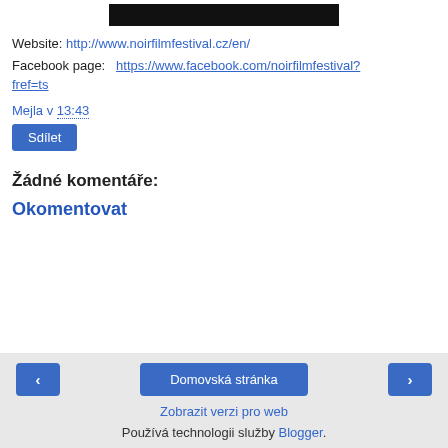[Figure (photo): Black image bar at top, partially visible]
Website: http://www.noirfilmfestival.cz/en/
Facebook page: https://www.facebook.com/noirfilmfestival?fref=ts
Mejla v 13:43
Sdílet
Žádné komentáře:
Okomentovat
‹  Domovská stránka  ›  Zobrazit verzi pro web  Používá technologii služby Blogger.